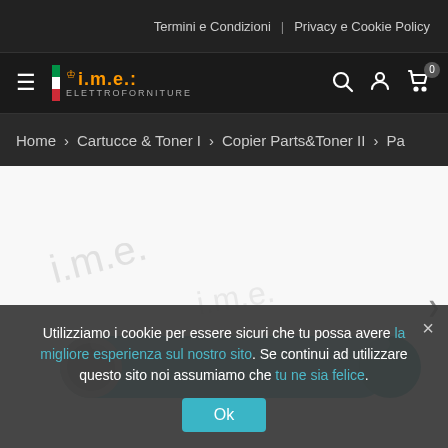Termini e Condizioni | Privacy e Cookie Policy
[Figure (logo): I.M.E. Elettroforniture logo with Italian flag stripe and crown icon]
Home > Cartucce & Toner I > Copier Parts&Toner II > Pa
[Figure (photo): Toner drum cylinder in teal/green color on white background with cookie consent overlay]
Utilizziamo i cookie per essere sicuri che tu possa avere la migliore esperienza sul nostro sito. Se continui ad utilizzare questo sito noi assumiamo che tu ne sia felice.
Ok